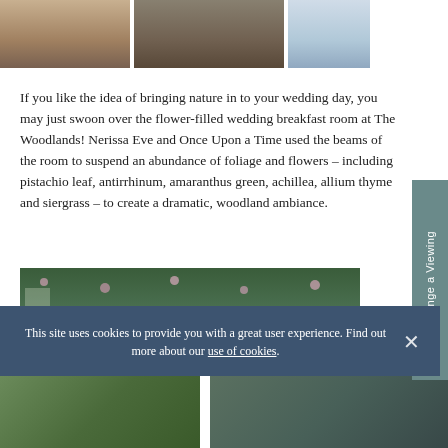[Figure (photo): Three photos in a horizontal strip at top: indoor dining/cafe scene, interior with log-slice wall, and wedding couple in white dress]
If you like the idea of bringing nature in to your wedding day, you may just swoon over the flower-filled wedding breakfast room at The Woodlands! Nerissa Eve and Once Upon a Time used the beams of the room to suspend an abundance of foliage and flowers – including pistachio leaf, antirrhinum, amaranthus green, achillea, allium thyme and siergrass – to create a dramatic, woodland ambiance.
[Figure (photo): Wedding breakfast room with abundant hanging foliage, greenery and pink flowers suspended from beams, long dining table set with candles below]
This site uses cookies to provide you with a great user experience. Find out more about our use of cookies.
[Figure (photo): Bottom strip showing two partial photos: tropical plants on left, garden/outdoor scene on right]